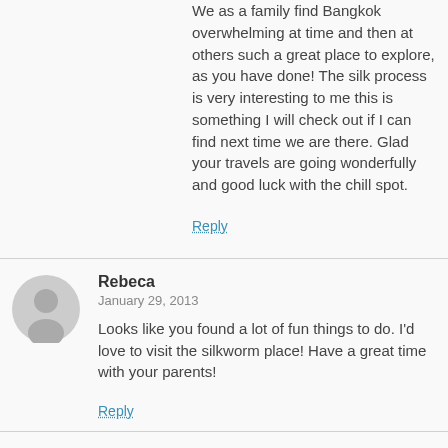We as a family find Bangkok overwhelming at time and then at others such a great place to explore, as you have done! The silk process is very interesting to me this is something I will check out if I can find next time we are there. Glad your travels are going wonderfully and good luck with the chill spot.
Reply
Rebeca
January 29, 2013
Looks like you found a lot of fun things to do. I'd love to visit the silkworm place! Have a great time with your parents!
Reply
Eryn
January 29, 2013
Thanks for taking time to share your journey with us! It's wonderful to experience it through your posts. We miss you guys!
Reply